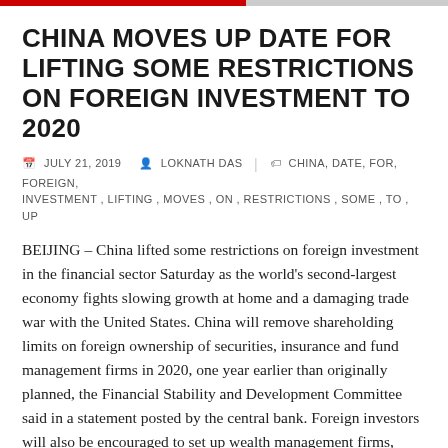CHINA MOVES UP DATE FOR LIFTING SOME RESTRICTIONS ON FOREIGN INVESTMENT TO 2020
JULY 21, 2019  LOKNATH DAS  CHINA, DATE, FOR, FOREIGN, INVESTMENT, LIFTING, MOVES, ON, RESTRICTIONS, SOME, TO, UP
BEIJING – China lifted some restrictions on foreign investment in the financial sector Saturday as the world's second-largest economy fights slowing growth at home and a damaging trade war with the United States. China will remove shareholding limits on foreign ownership of securities, insurance and fund management firms in 2020, one year earlier than originally planned, the Financial Stability and Development Committee said in a statement posted by the central bank. Foreign investors will also be encouraged to set up wealth management firms, currency brokerages and pension management companies, the statement...
READ MORE